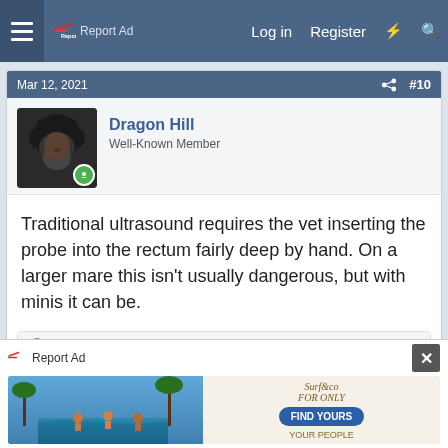Report Ad  Log in  Register
Mar 12, 2021  #10
Dragon Hill
Well-Known Member
Traditional ultrasound requires the vet inserting the probe into the rectum fairly deep by hand. On a larger mare this isn't usually dangerous, but with minis it can be.
Cayuse, Pitter Patter and Taz
Mar 12, 2021  #11
Taz